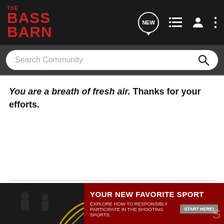[Figure (screenshot): The Bass Barn community forum website header with logo, navigation icons (NEW, list, profile, more), search bar, post content, and user TheAdamBomb with a shooting sports advertisement overlay]
You are a breath of fresh air. Thanks for your efforts.
A government which robs Peter to pay Paul can always depend on the support of Paul.
TheAdamBomb · Registered
[Figure (photo): Shooting sports advertisement: YOUR NEW FAVORITE SPORT - EXPLORE HOW TO RESPONSIBLY PARTICIPATE IN THE SHOOTING SPORTS. START HERE!]